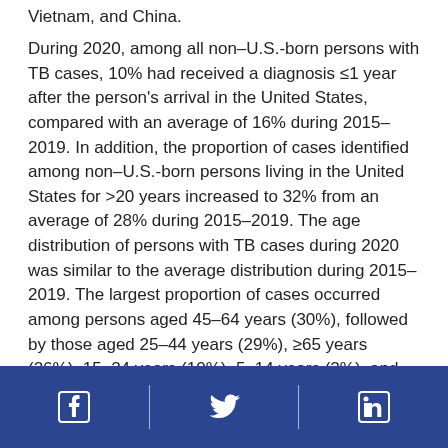Vietnam, and China.
During 2020, among all non–U.S.-born persons with TB cases, 10% had received a diagnosis ≤1 year after the person's arrival in the United States, compared with an average of 16% during 2015–2019. In addition, the proportion of cases identified among non–U.S.-born persons living in the United States for >20 years increased to 32% from an average of 28% during 2015–2019. The age distribution of persons with TB cases during 2020 was similar to the average distribution during 2015–2019. The largest proportion of cases occurred among persons aged 45–64 years (30%), followed by those aged 25–44 years (29%), ≥65 years (26%), 15–24 years (10%), 5–14 years (2%), and ≤4 years (2%).
Social media icons: Facebook, Twitter, LinkedIn